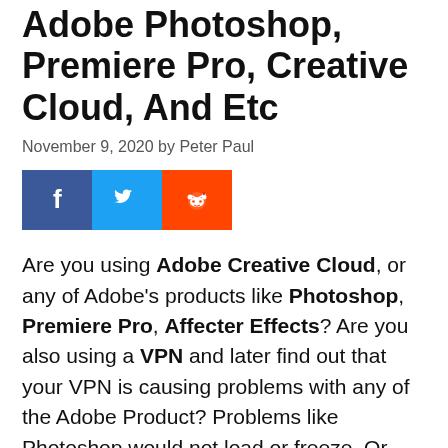Adobe Photoshop, Premiere Pro, Creative Cloud, And Etc
November 9, 2020 by Peter Paul
[Figure (infographic): Social sharing buttons: Facebook (blue), Twitter (light blue), Reddit (orange)]
Are you using Adobe Creative Cloud, or any of Adobe's products like Photoshop, Premiere Pro, Affecter Effects? Are you also using a VPN and later find out that your VPN is causing problems with any of the Adobe Product? Problems like Photoshop would not load or freeze. Or you can't connect to Creative Cloud over a VPN. Well, I was in a similar situation a few months ago. There is a solution to fix this problem. But it would require that you contact your VPN...